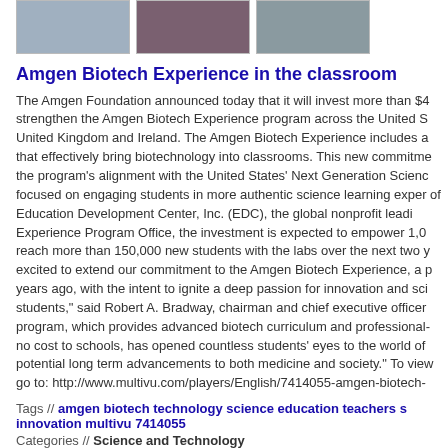[Figure (photo): Three thumbnail images of people in classroom/lab settings at the top of the page]
Amgen Biotech Experience in the classroom
The Amgen Foundation announced today that it will invest more than $4 strengthen the Amgen Biotech Experience program across the United S United Kingdom and Ireland. The Amgen Biotech Experience includes a that effectively bring biotechnology into classrooms. This new commitme the program's alignment with the United States' Next Generation Scienc focused on engaging students in more authentic science learning exper of Education Development Center, Inc. (EDC), the global nonprofit leadi Experience Program Office, the investment is expected to empower 1,0 reach more than 150,000 new students with the labs over the next two y excited to extend our commitment to the Amgen Biotech Experience, a p years ago, with the intent to ignite a deep passion for innovation and sci students," said Robert A. Bradway, chairman and chief executive officer program, which provides advanced biotech curriculum and professional- no cost to schools, has opened countless students' eyes to the world of potential long term advancements to both medicine and society." To view go to: http://www.multivu.com/players/English/7414055-amgen-biotech-
Tags // amgen biotech technology science education teachers s innovation multivu 7414055
Categories // Science and Technology
Added: 2501 days ago by MultiVuVideos
Runtime: 3m29s | Views: 585 | Comments: 2
Not yet rated
[Figure (photo): Three gray placeholder thumbnail images at the bottom of the page]